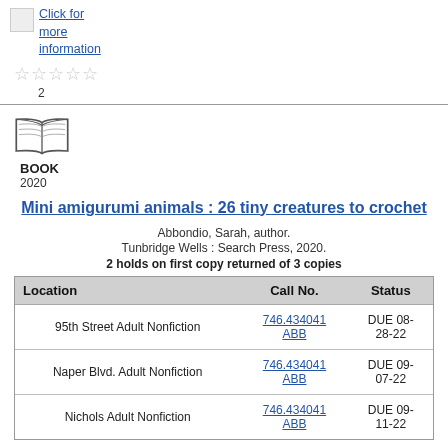[Figure (illustration): Small broken image icon followed by 'Click for more information' link text in blue underlined]
[Figure (illustration): Five empty star rating icons followed by number 2 below]
[Figure (illustration): Open book icon representing a BOOK item type, with year 2020 below]
Mini amigurumi animals : 26 tiny creatures to crochet
Abbondio, Sarah, author.
Tunbridge Wells : Search Press, 2020.
2 holds on first copy returned of 3 copies
| Location | Call No. | Status |
| --- | --- | --- |
| 95th Street Adult Nonfiction | 746.434041 ABB | DUE 08-28-22 |
| Naper Blvd. Adult Nonfiction | 746.434041 ABB | DUE 09-07-22 |
| Nichols Adult Nonfiction | 746.434041 ABB | DUE 09-11-22 |